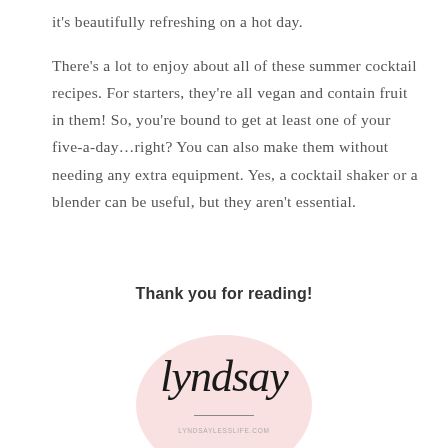it's beautifully refreshing on a hot day.
There's a lot to enjoy about all of these summer cocktail recipes. For starters, they're all vegan and contain fruit in them! So, you're bound to get at least one of your five-a-day…right? You can also make them without needing any extra equipment. Yes, a cocktail shaker or a blender can be useful, but they aren't essential.
Thank you for reading!
[Figure (illustration): Pink circular background with cursive signature reading 'lyndsay', a horizontal line beneath, and the text 'lyndsaylesslife.com' below the line.]